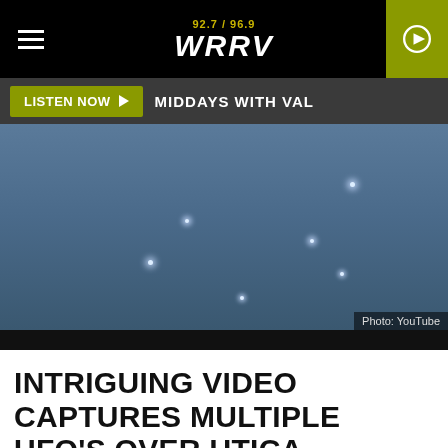92.7 / 96.9 WRRV
LISTEN NOW  MIDDAYS WITH VAL
[Figure (photo): Dark blue sky with multiple small white light dots suggesting unidentified flying objects]
Photo: YouTube
INTRIGUING VIDEO CAPTURES MULTIPLE UFO'S OVER UTICA